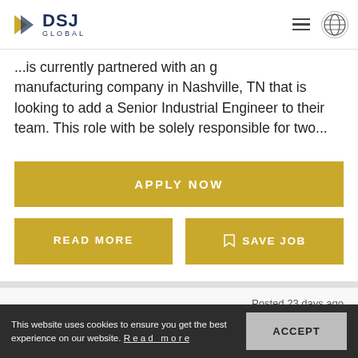[Figure (logo): DSJ Global logo with gold arrow icon and dark blue DSJ GLOBAL text]
...is currently partnered with a manufacturing company in Nashville, TN that is looking to add a Senior Industrial Engineer to their team. This role with be solely responsible for two...
APPLY NOW
READ MORE
SAVE JOB
Posted 23 days ago
Production Plant Manger
This website uses cookies to ensure you get the best experience on our website. Read more
ACCEPT